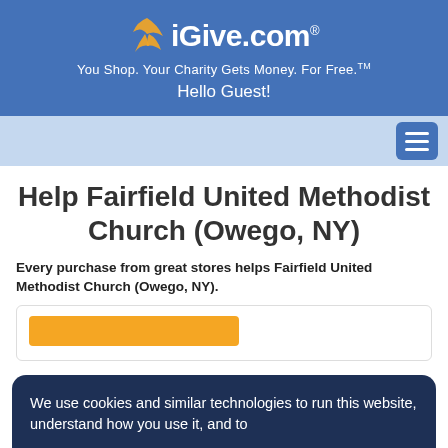iGive.com® — You Shop. Your Charity Gets Money. For Free.™ — Hello Guest!
Help Fairfield United Methodist Church (Owego, NY)
Every purchase from great stores helps Fairfield United Methodist Church (Owego, NY).
We use cookies and similar technologies to run this website, understand how you use it, and to